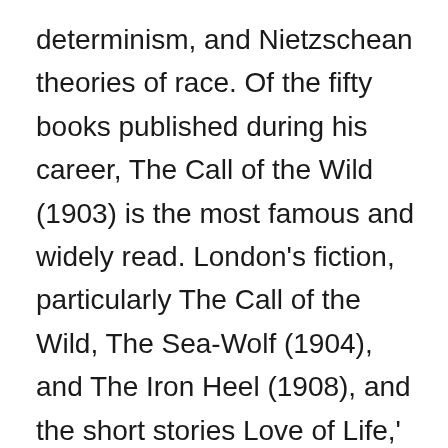determinism, and Nietzschean theories of race. Of the fifty books published during his career, The Call of the Wild (1903) is the most famous and widely read. London's fiction, particularly The Call of the Wild, The Sea-Wolf (1904), and The Iron Heel (1908), and the short stories Love of Life,' 'To Build a Fire,' and "Batard," are considered classics in American literature" Gale 1).
Why was he important? He had political